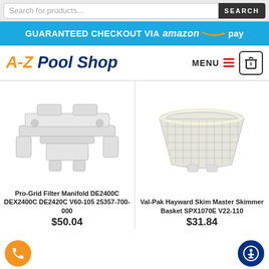Search for products... SEARCH
GUARANTEED CHECKOUT VIA amazon pay
[Figure (logo): A-Z Pool Shop logo with orange A-Z and dark blue Pool Shop text]
MENU 0
[Figure (photo): Pro-Grid Filter Manifold DE2400C product image — white plastic manifold assembly]
[Figure (photo): Val-Pak Hayward Skim Master Skimmer Basket product image — white mesh basket]
Pro-Grid Filter Manifold DE2400C DEX2400C DE2420C V60-105 25357-700-000
$50.04
Val-Pak Hayward Skim Master Skimmer Basket SPX1070E V22-110
$31.84